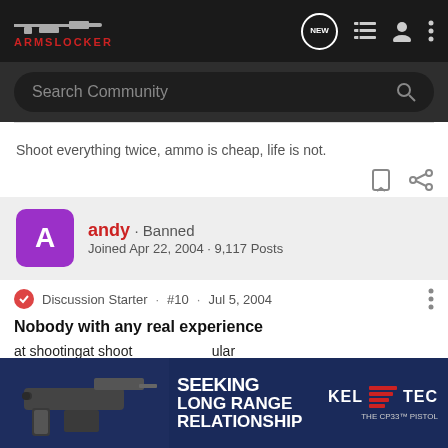ArmsLocker - Search Community
Shoot everything twice, ammo is cheap, life is not.
andy · Banned
Joined Apr 22, 2004 · 9,117 Posts
Discussion Starter · #10 · Jul 5, 2004
Nobody with any real experience
at shoot...ular .45 load..., no.
The...full
[Figure (advertisement): Kel-Tec CP33 Pistol advertisement - SEEKING LONG RANGE RELATIONSHIP, THE CP33 PISTOL]